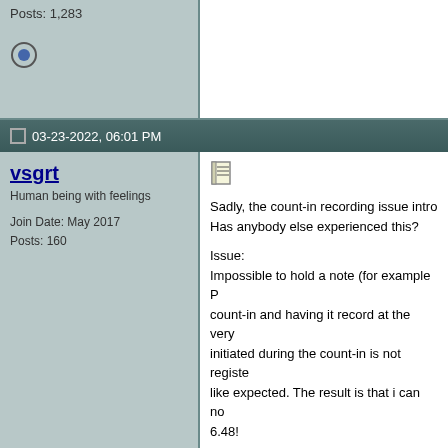Posts: 1,283
03-23-2022, 06:01 PM
vsgrt
Human being with feelings
Join Date: May 2017
Posts: 160
Sadly, the count-in recording issue intro Has anybody else experienced this?

Issue:
Impossible to hold a note (for example P count-in and having it record at the very initiated during the count-in is not registe like expected. The result is that i can no 6.48!

It works in 6.48 and every release befor 6.52+dev0323), this simply stopped wor

I have tried everything (including a fresh and i'm getting desperate about it 😟

Sorry if this is the wrong thread but i fee changed recently. Justin couldn't recrea recently?
I would really really appreciate any infor